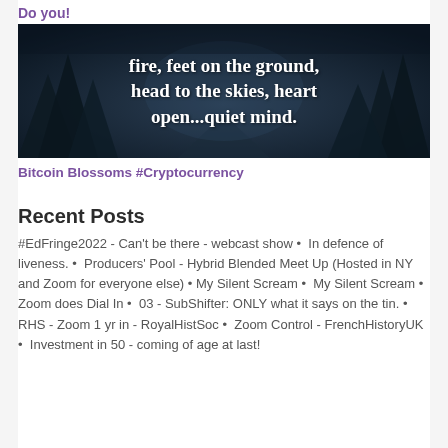Do you!
[Figure (photo): Dark forest/nature scene with overlaid white text reading: 'fire, feet on the ground, head to the skies, heart open...quiet mind.']
Bitcoin Blossoms #Cryptocurrency
Recent Posts
#EdFringe2022 - Can't be there - webcast show • In defence of liveness. • Producers' Pool - Hybrid Blended Meet Up (Hosted in NY and Zoom for everyone else) • My Silent Scream • My Silent Scream • Zoom does Dial In • 03 - SubShifter: ONLY what it says on the tin. • RHS - Zoom 1 yr in - RoyalHistSoc • Zoom Control - FrenchHistoryUK • Investment in 50 - coming of age at last!